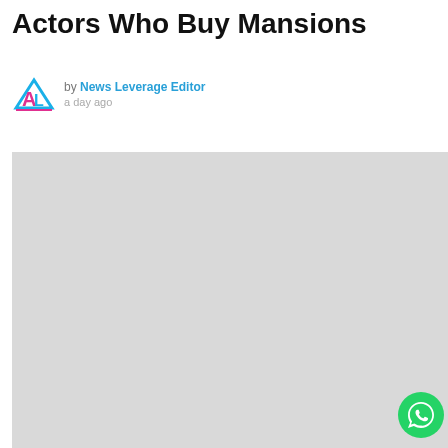Actors Who Buy Mansions
by News Leverage Editor
a day ago
[Figure (photo): Large light gray placeholder image area for article content]